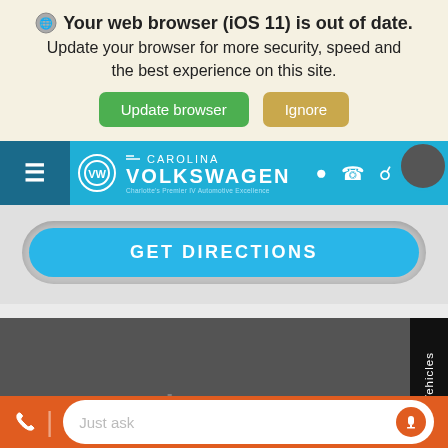Your web browser (iOS 11) is out of date. Update your browser for more security, speed and the best experience on this site.
Update browser
Ignore
[Figure (screenshot): Carolina Volkswagen navigation bar with hamburger menu, VW logo, brand name, and icons for location, phone, and search]
GET DIRECTIONS
Welcome to
Saved Vehicles
Just ask